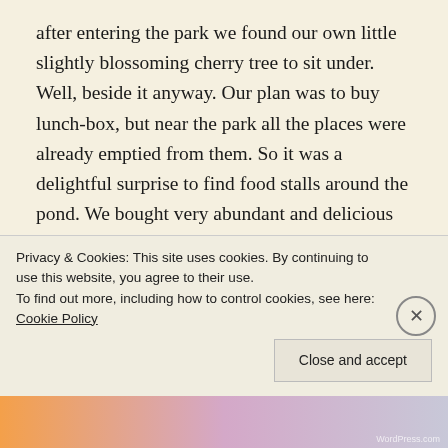after entering the park we found our own little slightly blossoming cherry tree to sit under. Well, beside it anyway. Our plan was to buy lunch-box, but near the park all the places were already emptied from them. So it was a delightful surprise to find food stalls around the pond. We bought very abundant and delicious fried cabbage noodles with pickles and had some red wine. Locals had amazing amount of food and loads to drink, some even had carried tables and chairs there. It really reminded me Finnish spring festival, Labour Day 1st of May. Finns call it vappu. But only, somehow celebrating
Privacy & Cookies: This site uses cookies. By continuing to use this website, you agree to their use.
To find out more, including how to control cookies, see here: Cookie Policy
Close and accept